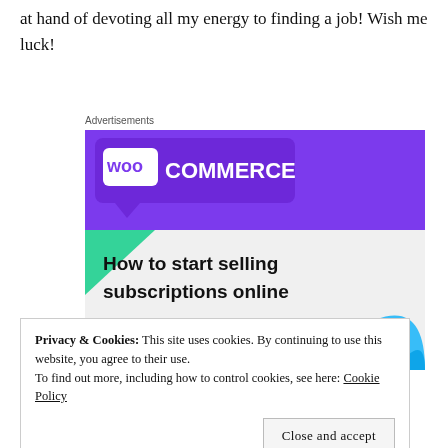at hand of devoting all my energy to finding a job! Wish me luck!
Advertisements
[Figure (screenshot): WooCommerce advertisement banner showing 'How to start selling subscriptions online' with a 'Start a new store' button on a gray background with purple and teal decorative shapes.]
Privacy & Cookies: This site uses cookies. By continuing to use this website, you agree to their use.
To find out more, including how to control cookies, see here: Cookie Policy
Close and accept